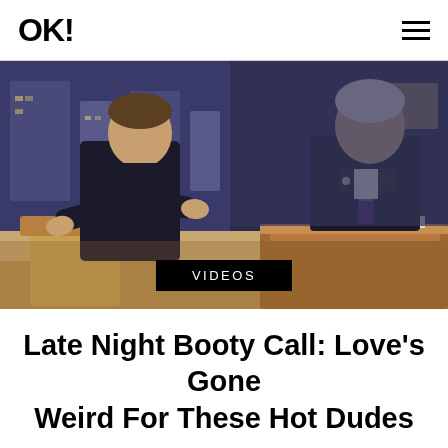OK!
[Figure (photo): Two men on a late night talk show set. The guest on the left wears a dark suit and is gesturing with his hands while speaking. The host on the right sits behind a wooden desk wearing a dark suit and striped tie. A city skyline is visible through a window in the background.]
VIDEOS
Late Night Booty Call: Love's Gone Weird For These Hot Dudes